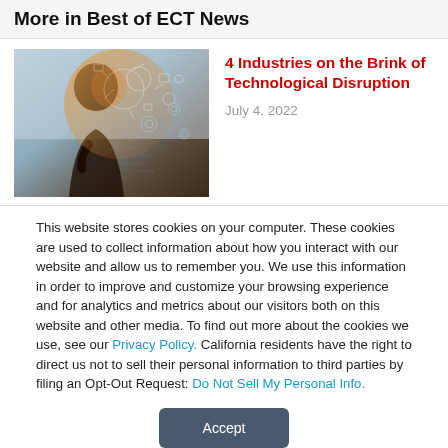More in Best of ECT News
[Figure (photo): Person silhouette with digital technology/gear imagery overlaid on head, suggesting AI or technological thinking]
4 Industries on the Brink of Technological Disruption
July 4, 2022
This website stores cookies on your computer. These cookies are used to collect information about how you interact with our website and allow us to remember you. We use this information in order to improve and customize your browsing experience and for analytics and metrics about our visitors both on this website and other media. To find out more about the cookies we use, see our Privacy Policy. California residents have the right to direct us not to sell their personal information to third parties by filing an Opt-Out Request: Do Not Sell My Personal Info.
Accept